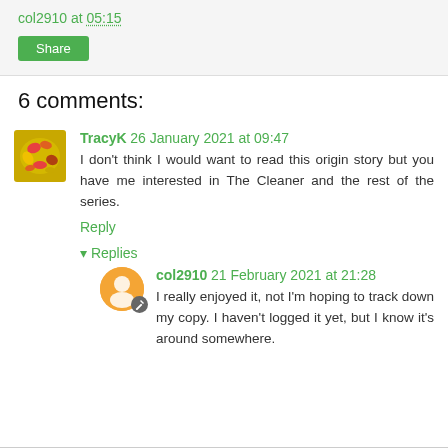col2910 at 05:15
Share
6 comments:
TracyK 26 January 2021 at 09:47
I don't think I would want to read this origin story but you have me interested in The Cleaner and the rest of the series.
Reply
▾ Replies
col2910 21 February 2021 at 21:28
I really enjoyed it, not I'm hoping to track down my copy. I haven't logged it yet, but I know it's around somewhere.